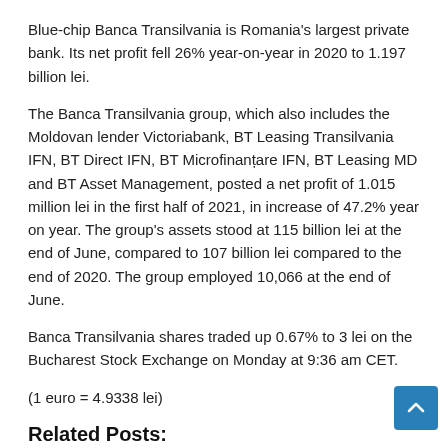Blue-chip Banca Transilvania is Romania's largest private bank. Its net profit fell 26% year-on-year in 2020 to 1.197 billion lei.
The Banca Transilvania group, which also includes the Moldovan lender Victoriabank, BT Leasing Transilvania IFN, BT Direct IFN, BT Microfinanțare IFN, BT Leasing MD and BT Asset Management, posted a net profit of 1.015 million lei in the first half of 2021, in increase of 47.2% year on year. The group's assets stood at 115 billion lei at the end of June, compared to 107 billion lei compared to the end of 2020. The group employed 10,066 at the end of June.
Banca Transilvania shares traded up 0.67% to 3 lei on the Bucharest Stock Exchange on Monday at 9:36 am CET.
(1 euro = 4.9338 lei)
Related Posts:
Here's how the annual percentage rate works
edb: IIFL Home Finance to secure $68m in AfDB loans